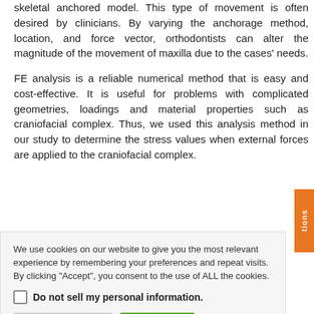skeletal anchored model. This type of movement is often desired by clinicians. By varying the anchorage method, location, and force vector, orthodontists can alter the magnitude of the movement of maxilla due to the cases' needs.
FE analysis is a reliable numerical method that is easy and cost-effective. It is useful for problems with complicated geometries, loadings and material properties such as craniofacial complex. Thus, we used this analysis method in our study to determine the stress values when external forces are applied to the craniofacial complex.
We use cookies on our website to give you the most relevant experience by remembering your preferences and repeat visits. By clicking "Accept", you consent to the use of ALL the cookies.
Do not sell my personal information.